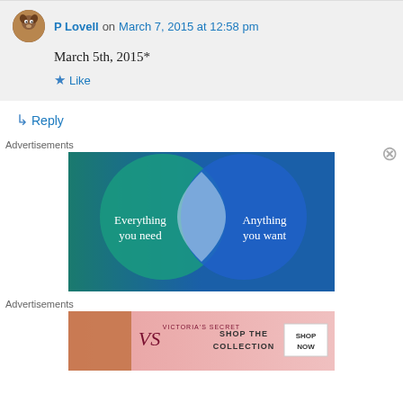P Lovell on March 7, 2015 at 12:58 pm
March 5th, 2015*
Like
Reply
Advertisements
[Figure (illustration): Advertisement banner showing two overlapping circles (Venn diagram) on a blue-green gradient background. Left circle text: 'Everything you need', right circle text: 'Anything you want'.]
Advertisements
[Figure (illustration): Victoria's Secret advertisement banner with pink background, model on left, VS logo, text 'SHOP THE COLLECTION', and a 'SHOP NOW' button.]